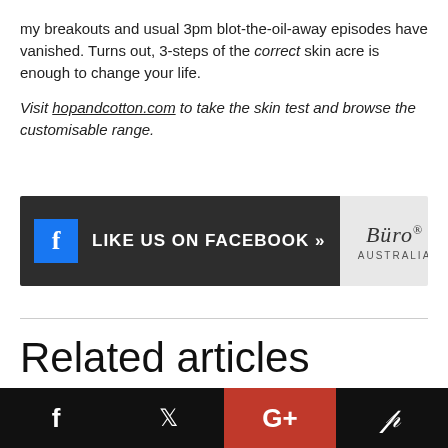my breakouts and usual 3pm blot-the-oil-away episodes have vanished. Turns out, 3-steps of the correct skin acre is enough to change your life.
Visit hopandcotton.com to take the skin test and browse the customisable range.
[Figure (other): Facebook 'Like Us on Facebook' banner with Buro Australia logo]
Related articles
BURO 24/7 SELECTION
[Figure (other): Social media share bar with Facebook, Twitter, Google+, and Pinterest icons]